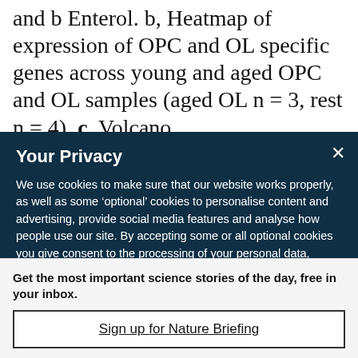and b Enterol. b, Heatmap of expression of OPC and OL specific genes across young and aged OPC and OL samples (aged OL n = 3, rest n = 4). c, Volcano
Your Privacy
We use cookies to make sure that our website works properly, as well as some ‘optional’ cookies to personalise content and advertising, provide social media features and analyse how people use our site. By accepting some or all optional cookies you give consent to the processing of your personal data, including transfer to third parties, some in countries outside of the European Economic Area that do not offer the same data protection standards as the country where you live. You can decide which optional cookies to accept by clicking on ‘Manage Settings’, where you can
Get the most important science stories of the day, free in your inbox.
Sign up for Nature Briefing